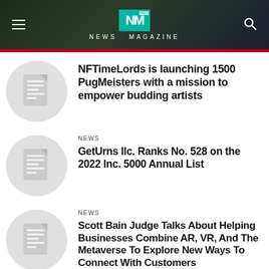NEWS MAGAZINE
NFTimeLords is launching 1500 PugMeisters with a mission to empower budding artists
NEWS
GetUrns llc. Ranks No. 528 on the 2022 Inc. 5000 Annual List
NEWS
Scott Bain Judge Talks About Helping Businesses Combine AR, VR, And The Metaverse To Explore New Ways To Connect With Customers